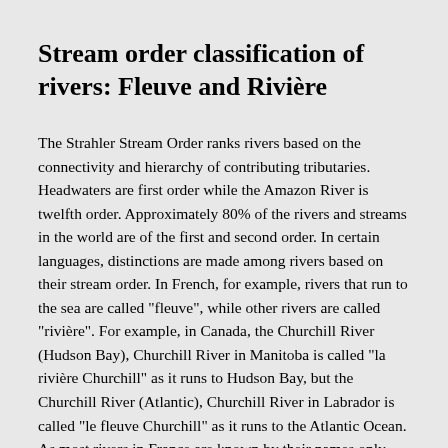Stream order classification of rivers: Fleuve and Rivière
The Strahler Stream Order ranks rivers based on the connectivity and hierarchy of contributing tributaries. Headwaters are first order while the Amazon River is twelfth order. Approximately 80% of the rivers and streams in the world are of the first and second order. In certain languages, distinctions are made among rivers based on their stream order. In French, for example, rivers that run to the sea are called "fleuve", while other rivers are called "rivière". For example, in Canada, the Churchill River (Hudson Bay), Churchill River in Manitoba is called "la rivière Churchill" as it runs to Hudson Bay, but the Churchill River (Atlantic), Churchill River in Labrador is called "le fleuve Churchill" as it runs to the Atlantic Ocean. As most rivers in France are known by their names only without the word "rivière" or "fleuve" (e.g. "la Seine", not "le fleuve Seine", even though the Seine is classed as a "fleuve"), one of the most prominent rivers in the